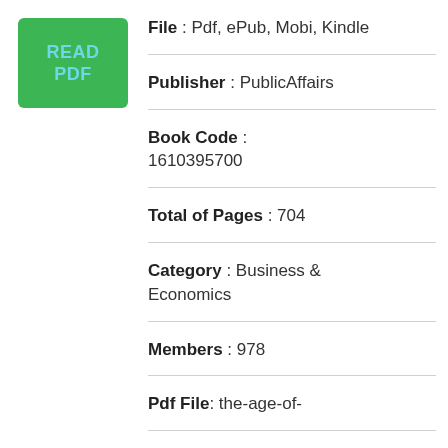[Figure (other): Green button with text READ PDF]
File : Pdf, ePub, Mobi, Kindle
Publisher : PublicAffairs
Book Code : 1610395700
Total of Pages : 704
Category : Business & Economics
Members : 978
Pdf File: the-age-of-